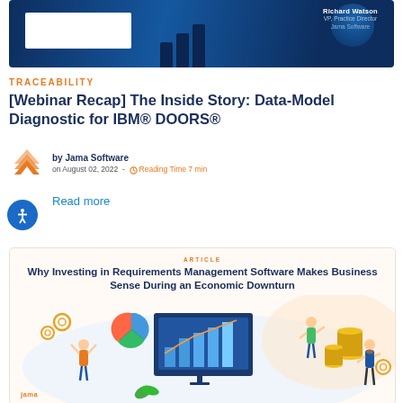[Figure (screenshot): Dark blue webinar thumbnail card with white rectangle placeholder and person name/title text for Richard Watson, VP Practice Director, Jama Software]
TRACEABILITY
[Webinar Recap] The Inside Story: Data-Model Diagnostic for IBM® DOORS®
by Jama Software on August 02, 2022 - Reading Time 7 min
Read more
[Figure (illustration): Article card for 'Why Investing in Requirements Management Software Makes Business Sense During an Economic Downturn' with business infographic illustration showing people with charts, pie charts, coins, and growth graphs on a light peach/white background. Jama Software logo at bottom left.]